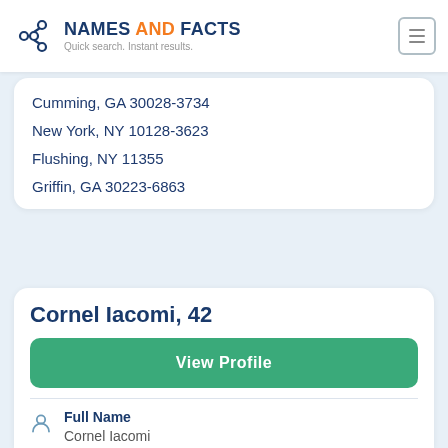NAMES AND FACTS — Quick search. Instant results.
Cumming, GA 30028-3734
New York, NY 10128-3623
Flushing, NY 11355
Griffin, GA 30223-6863
Cornel Iacomi, 42
View Profile
Full Name
Cornel Iacomi